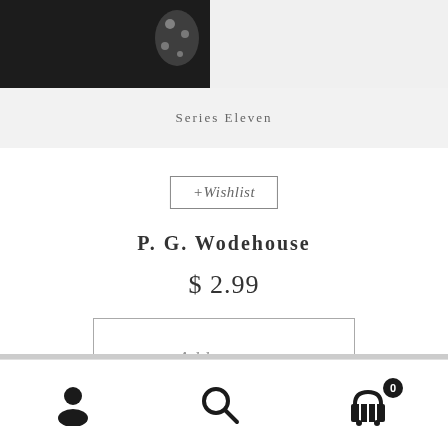[Figure (photo): Partial black and white photograph of a person, cropped, showing dark clothing with polka dot detail against a light background]
Series Eleven
+Wishlist
P. G. Wodehouse
$ 2.99
Add to cart
Navigation bar with user account icon, search icon, and shopping cart icon with badge showing 0